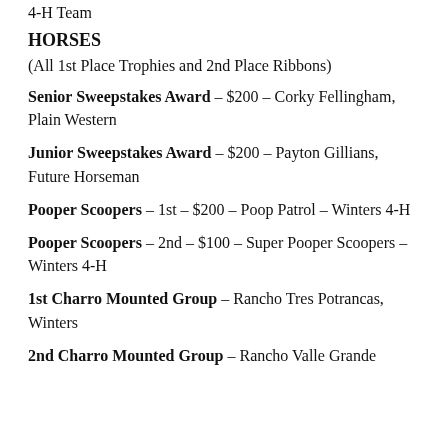4-H Team
HORSES
(All 1st Place Trophies and 2nd Place Ribbons)
Senior Sweepstakes Award – $200 – Corky Fellingham, Plain Western
Junior Sweepstakes Award – $200 – Payton Gillians, Future Horseman
Pooper Scoopers – 1st – $200 – Poop Patrol – Winters 4-H
Pooper Scoopers – 2nd – $100 – Super Pooper Scoopers – Winters 4-H
1st Charro Mounted Group – Rancho Tres Potrancas, Winters
2nd Charro Mounted Group – Rancho Valle Grande